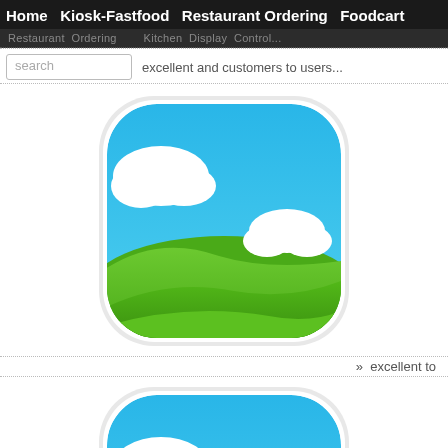Home  Kiosk-Fastfood  Restaurant Ordering  Foodcart
Restaurant Ordering Kitchen Display Control...
excellent and customers to users...
[Figure (illustration): App icon showing a landscape with green rolling hills, blue sky, and white clouds, with rounded square white border]
»  excellent to
[Figure (illustration): Partially visible app icon showing a landscape with green rolling hills, blue sky, and white clouds, cropped at bottom of page]